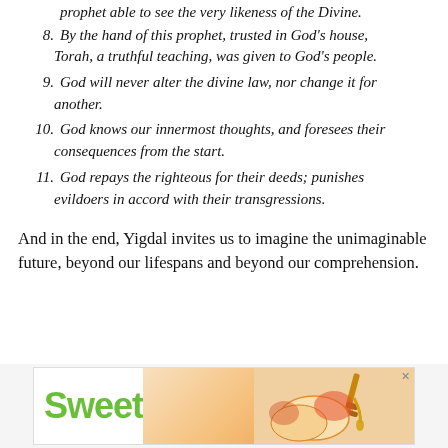prophet able to see the very likeness of the Divine.
8. By the hand of this prophet, trusted in God’s house, Torah, a truthful teaching, was given to God’s people.
9. God will never alter the divine law, nor change it for another.
10. God knows our innermost thoughts, and foresees their consequences from the start.
11. God repays the righteous for their deeds; punishes evildoers in accord with their transgressions.
And in the end, Yigdal invites us to imagine the unimaginable future, beyond our lifespans and beyond our comprehension.
[Figure (photo): Advertisement banner with the word 'Sweet' in large green text on the left and an image of apples with honey on the right, with an X close button in the top right corner.]